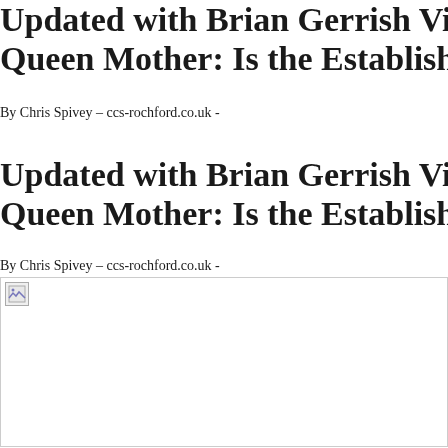Updated with Brian Gerrish Video…Savil Queen Mother: Is the Establishment about
By Chris Spivey – ccs-rochford.co.uk -
Updated with Brian Gerrish Video…Savil Queen Mother: Is the Establishment about
By Chris Spivey – ccs-rochford.co.uk -
[Figure (photo): Broken/missing image placeholder shown as small icon in top-left of image area]